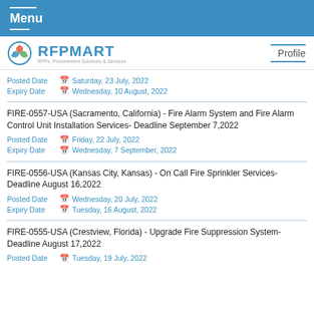Menu
[Figure (logo): RFPMART logo with tagline RFPs, Procurement Solutions & Services]
Posted Date  Saturday, 23 July, 2022
Expiry Date  Wednesday, 10 August, 2022
FIRE-0557-USA (Sacramento, California) - Fire Alarm System and Fire Alarm Control Unit Installation Services- Deadline September 7,2022
Posted Date  Friday, 22 July, 2022
Expiry Date  Wednesday, 7 September, 2022
FIRE-0556-USA (Kansas City, Kansas) - On Call Fire Sprinkler Services- Deadline August 16,2022
Posted Date  Wednesday, 20 July, 2022
Expiry Date  Tuesday, 16 August, 2022
FIRE-0555-USA (Crestview, Florida) - Upgrade Fire Suppression System- Deadline August 17,2022
Posted Date  Tuesday, 19 July, 2022